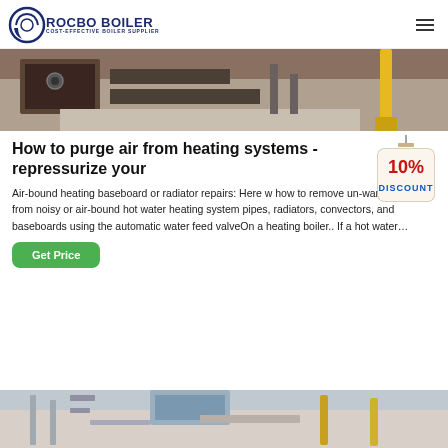ROCBO BOILER - COST-EFFECTIVE BOILER SUPPLIER
[Figure (photo): Industrial boiler equipment on a concrete floor, showing metal frames, pipes, and yellow safety posts]
How to purge air from heating systems - repressurize your
[Figure (illustration): 10% DISCOUNT badge/tag hanging on a string]
Air-bound heating baseboard or radiator repairs: Here w how to remove un-wanted, air from noisy or air-bound hot water heating system pipes, radiators, convectors, and baseboards using the automatic water feed valveOn a heating boiler.. If a hot water…
Get Price
[Figure (photo): Industrial piping and heating system components, pipes and connectors visible]